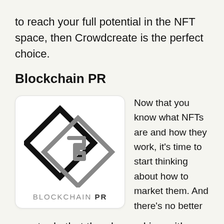to reach your full potential in the NFT space, then Crowdcreate is the perfect choice.
Blockchain PR
[Figure (logo): Blockchain PR logo: two overlapping diamond/rhombus shapes (one black outline, one grey outline) with a stylized letter G inside, above text reading BLOCKCHAIN PR]
Now that you know what NFTs are and how they work, it's time to start thinking about how to market them. And there's no better way to do that than by working with an
way to do that than by working with an